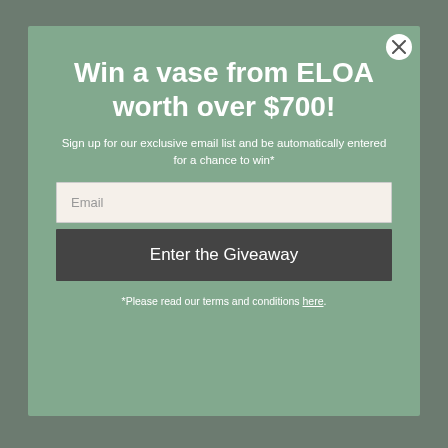Win a vase from ELOA worth over $700!
Sign up for our exclusive email list and be automatically entered for a chance to win*
Email
Enter the Giveaway
*Please read our terms and conditions here